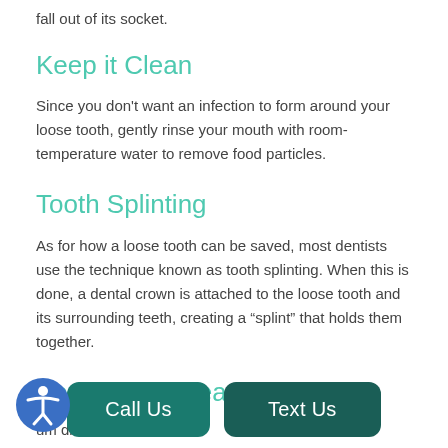fall out of its socket.
Keep it Clean
Since you don't want an infection to form around your loose tooth, gently rinse your mouth with room-temperature water to remove food particles.
Tooth Splinting
As for how a loose tooth can be saved, most dentists use the technique known as tooth splinting. When this is done, a dental crown is attached to the loose tooth and its surrounding teeth, creating a “splint” that holds them together.
Periodontal Treatment
um di... n for... your dentist r... m ca... odontal